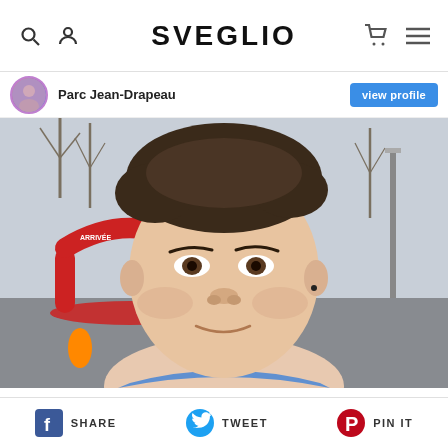SVEGLIO
Parc Jean-Drapeau
[Figure (photo): Young man taking a selfie at a winter running race finish line area (ARRIVÉE arch in background), bare trees and overcast sky, wearing a blue jersey]
SHARE   TWEET   PIN IT